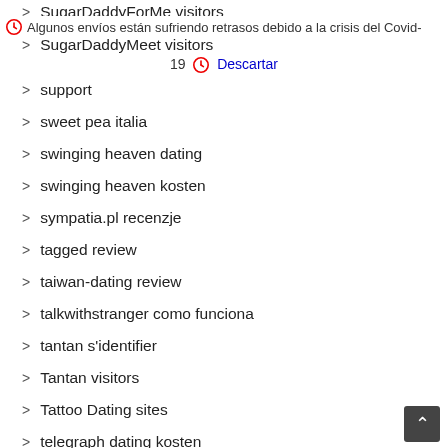SugarDaddyForMe visitors
Algunos envíos están sufriendo retrasos debido a la crisis del Covid-
SugarDaddyMeet visitors
19  Descartar
support
sweet pea italia
swinging heaven dating
swinging heaven kosten
sympatia.pl recenzje
tagged review
taiwan-dating review
talkwithstranger como funciona
tantan s'identifier
Tantan visitors
Tattoo Dating sites
telegraph dating kosten
Tennessee payday loans